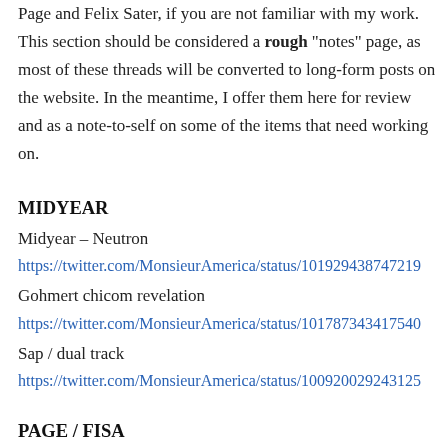Page and Felix Sater, if you are not familiar with my work. This section should be considered a rough "notes" page, as most of these threads will be converted to long-form posts on the website. In the meantime, I offer them here for review and as a note-to-self on some of the items that need working on.
MIDYEAR
Midyear – Neutron
https://twitter.com/MonsieurAmerica/status/101929438747219
Gohmert chicom revelation
https://twitter.com/MonsieurAmerica/status/101787343417540
Sap / dual track
https://twitter.com/MonsieurAmerica/status/100920029243125
PAGE / FISA